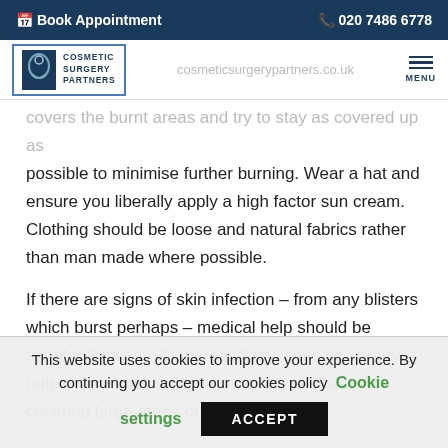Book Appointment   020 7486 6778
[Figure (logo): Cosmetic Surgery Partners logo with face icon and text]
covers the burnt areas and try to stay as covered up as possible to minimise further burning. Wear a hat and ensure you liberally apply a high factor sun cream. Clothing should be loose and natural fabrics rather than man made where possible.
If there are signs of skin infection – from any blisters which burst perhaps – medical help should be sought. Similarly, if you feel dizzy, have no urinary output, feel cold and clammy or have blisters covering large areas of skin, then
This website uses cookies to improve your experience. By continuing you accept our cookies policy   Cookie settings   ACCEPT